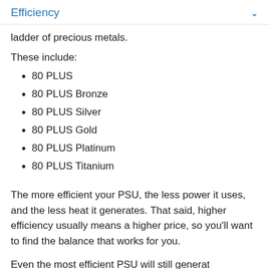Efficiency
ladder of precious metals.
These include:
80 PLUS
80 PLUS Bronze
80 PLUS Silver
80 PLUS Gold
80 PLUS Platinum
80 PLUS Titanium
The more efficient your PSU, the less power it uses, and the less heat it generates. That said, higher efficiency usually means a higher price, so you'll want to find the balance that works for you.
Even the most efficient PSU will still generat…